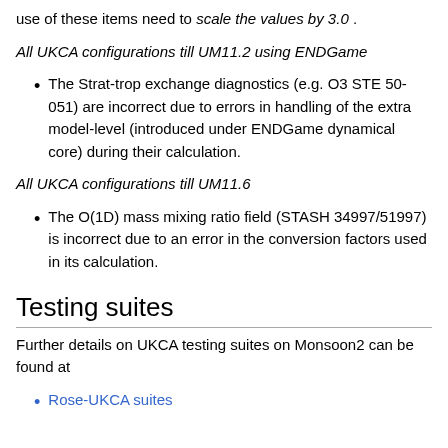use of these items need to scale the values by 3.0 .
All UKCA configurations till UM11.2 using ENDGame
The Strat-trop exchange diagnostics (e.g. O3 STE 50-051) are incorrect due to errors in handling of the extra model-level (introduced under ENDGame dynamical core) during their calculation.
All UKCA configurations till UM11.6
The O(1D) mass mixing ratio field (STASH 34997/51997) is incorrect due to an error in the conversion factors used in its calculation.
Testing suites
Further details on UKCA testing suites on Monsoon2 can be found at
Rose-UKCA suites